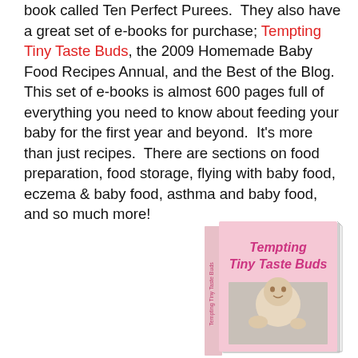book called Ten Perfect Purees. They also have a great set of e-books for purchase; Tempting Tiny Taste Buds, the 2009 Homemade Baby Food Recipes Annual, and the Best of the Blog. This set of e-books is almost 600 pages full of everything you need to know about feeding your baby for the first year and beyond. It's more than just recipes. There are sections on food preparation, food storage, flying with baby food, eczema & baby food, asthma and baby food, and so much more!
[Figure (illustration): Book cover image showing a pink book titled 'Tempting Tiny Taste Buds' with a baby photo on the cover]